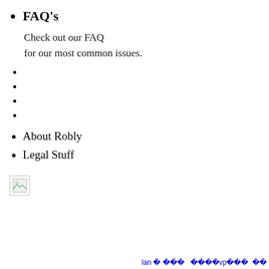FAQ's
Check out our FAQ
for our most common issues.
About Robly
Legal Stuff
[Figure (other): Broken image icon, small thumbnail placeholder]
lan             vp       